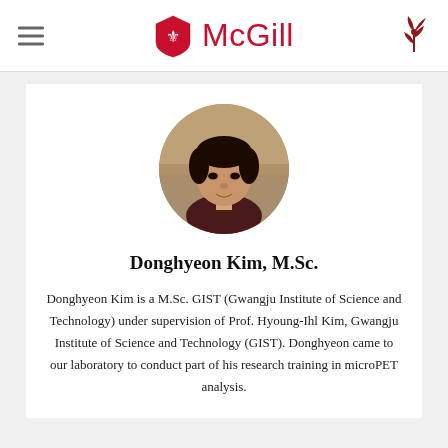McGill
[Figure (photo): Circular profile photo of Donghyeon Kim, a young Asian man with short black hair, wearing a dark top, with a blurred background.]
Donghyeon Kim, M.Sc.
Donghyeon Kim is a M.Sc. GIST (Gwangju Institute of Science and Technology) under supervision of Prof. Hyoung-Ihl Kim, Gwangju Institute of Science and Technology (GIST). Donghyeon came to our laboratory to conduct part of his research training in microPET analysis.